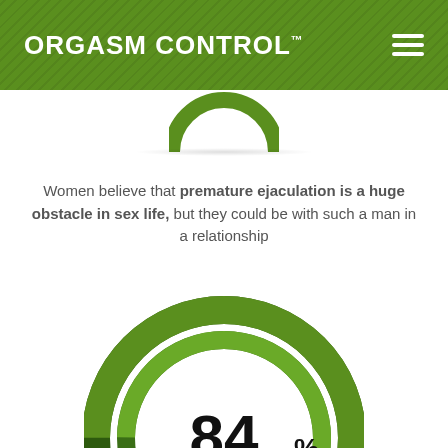ORGASM CONTROL™
Women believe that premature ejaculation is a huge obstacle in sex life, but they could be with such a man in a relationship
[Figure (donut-chart): Donut chart showing 84% in green and 16% in dark green]